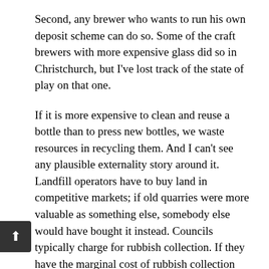Second, any brewer who wants to run his own deposit scheme can do so. Some of the craft brewers with more expensive glass did so in Christchurch, but I've lost track of the state of play on that one.
If it is more expensive to clean and reuse a bottle than to press new bottles, we waste resources in recycling them. And I can't see any plausible externality story around it. Landfill operators have to buy land in competitive markets; if old quarries were more valuable as something else, somebody else would have bought it instead. Councils typically charge for rubbish collection. If they have the marginal cost of rubbish collection wrong, that's a bigger issue than just glass bottles. But think about it more carefully: glass is about the fest, easiest thing in the world to put in a landfill. doesn't leach or leak. Nothing dangerous. No